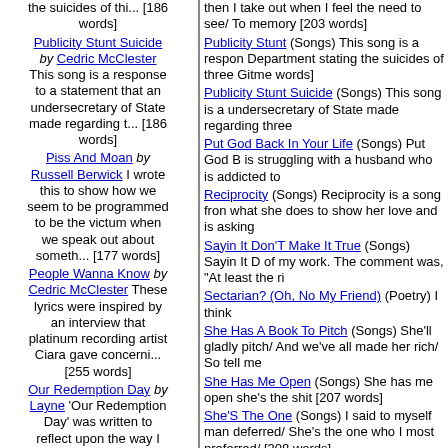the suicides of thi... [186 words]
Publicity Stunt Suicide by Cedric McClester This song is a response to a statement that an undersecretary of State made regarding t... [186 words]
Piss And Moan by Russell Berwick I wrote this to show how we seem to be programmed to be the victum when we speak out about someth... [177 words]
People Wanna Know by Cedric McClester These lyrics were inspired by an interview that platinum recording artist Ciara gave concerni... [255 words]
Our Redemption Day by Layne 'Our Redemption Day' was written to reflect upon the way I see it when someone slowly destro... [224 words]
One More Fight by
then I take out when I feel the need to see/ To memory [203 words]
Publicity Stunt (Songs) This song is a response Department stating the suicides of three Gitmo words]
Publicity Stunt Suicide (Songs) This song is a undersecretary of State made regarding three
Put God Back In Your Life (Songs) Put God B is struggling with a husband who is addicted to
Reciprocity (Songs) Reciprocity is a song from what she does to show her love and is asking
Sayin It Don'T Make It True (Songs) Sayin It D of my work. The comment was, "At least the ri
Sectarian? (Oh, No My Friend) (Poetry) I think
She Has A Book To Pitch (Songs) She'll gladl pitch/ And we've all made her rich/ So tell me
She Has Me Open (Songs) She has me open she's the shit [207 words]
She'S The One (Songs) I said to myself man deferred/ She's the one who I most preferred/ [308 words]
Slayed (Songs) (Chorus) I got slayed so well went at it till daylight See he knew how to do it
Some People Say (Songs) Some people say/ It's nothing but lies/ Cos what it implies/ Is tha
Somebody Tell Me (Songs) Somebody tell me question That I wish I knew/ Look at the things but so true [239 words]